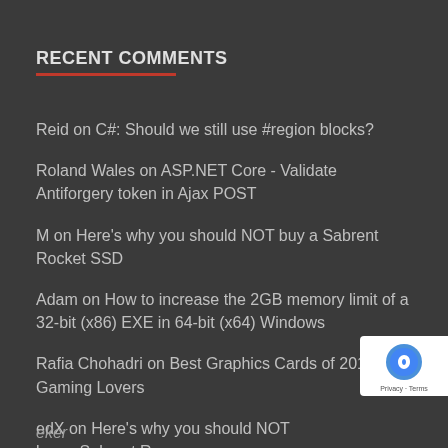RECENT COMMENTS
Reid on C#: Should we still use #region blocks?
Roland Wales on ASP.NET Core - Validate Antiforgery token in Ajax POST
M on Here's why you should NOT buy a Sabrent Rocket SSD
Adam on How to increase the 2GB memory limit of a 32-bit (x86) EXE in 64-bit (x64) Windows
Rafia Chohadri on Best Graphics Cards of 2016 for Gaming Lovers
edX on Here's why you should NOT buy a Sabrent Rocket SSD
eker